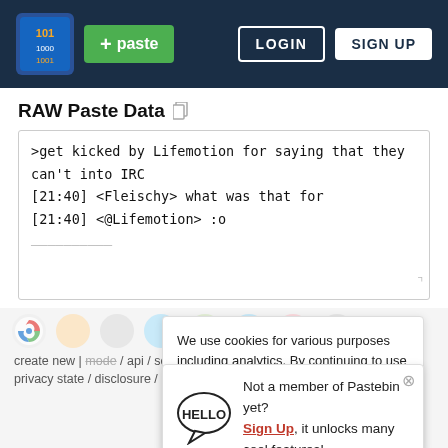[Figure (screenshot): Pastebin website screenshot showing navbar with logo, paste button, login and sign up buttons, RAW Paste Data section with code content, cookie consent popup, and sign up prompt popup.]
RAW Paste Data
>get kicked by Lifemotion for saying that they can't into IRC
[21:40] <Fleischy> what was that for
[21:40] <@Lifemotion> :o
We use cookies for various purposes including analytics. By continuing to use Pastebin, you agree to our use of cookies as described in the Cookies Policy.
Not a member of Pastebin yet? Sign Up, it unlocks many cool features!
create new | mode / api / scraping api / news / pro
privacy state / disclosure /